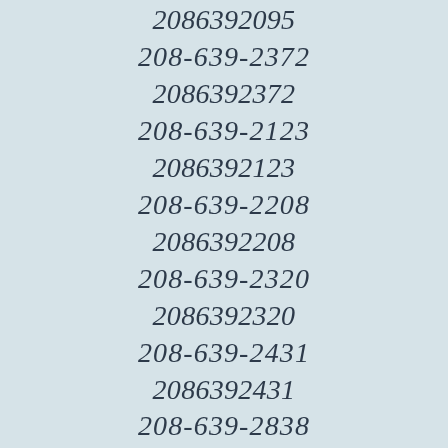2086392095
208-639-2372
2086392372
208-639-2123
2086392123
208-639-2208
2086392208
208-639-2320
2086392320
208-639-2431
2086392431
208-639-2838
2086392838
208-639-2776
2086392776
208-639-2409